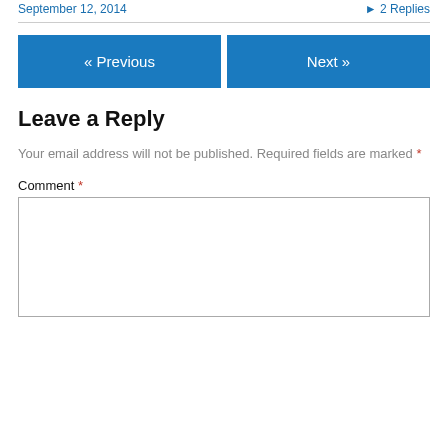September 12, 2014    ▸ 2 Replies
« Previous   Next »
Leave a Reply
Your email address will not be published. Required fields are marked *
Comment *